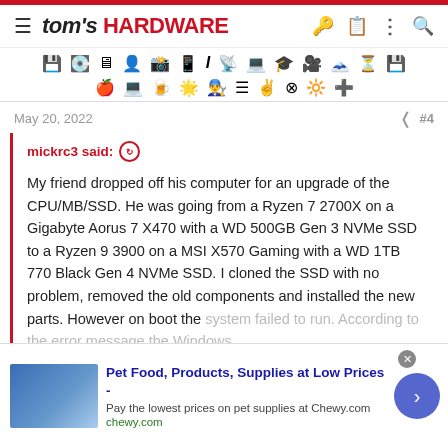tom's HARDWARE
[Figure (screenshot): Icon toolbar with various computer hardware category icons arranged in two rows]
May 20, 2022  #4
mickrc3 said:
My friend dropped off his computer for an upgrade of the CPU/MB/SSD. He was going from a Ryzen 7 2700X on a Gigabyte Aorus 7 X470 with a WD 500GB Gen 3 NVMe SSD to a Ryzen 9 3900 on a MSI X570 Gaming with a WD 1TB 770 Black Gen 4 NVMe SSD. I cloned the SSD with no problem, removed the old components and installed the new parts. However on boot the system failed to run. According to the error message the Windows
Click to expand...
[Figure (screenshot): Advertisement banner for Chewy.com pet food and supplies]